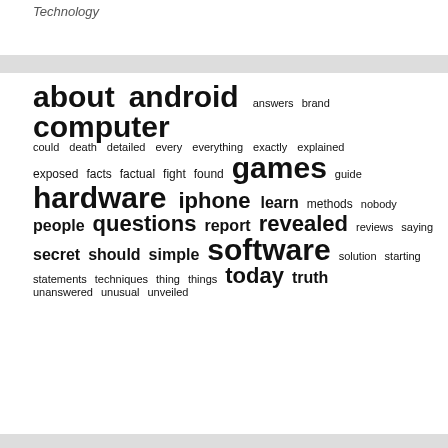Technology
[Figure (infographic): A tag cloud / word cloud showing technology-related terms in varying font sizes indicating frequency or importance. Words include: about, android, answers, brand, computer, could, death, detailed, every, everything, exactly, explained, exposed, facts, factual, fight, found, games, guide, hardware, iphone, learn, methods, nobody, people, questions, report, revealed, reviews, saying, secret, should, simple, software, solution, starting, statements, techniques, thing, things, today, truth, unanswered, unusual, unveiled]